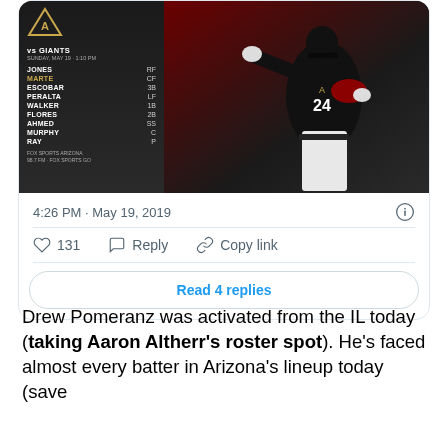[Figure (screenshot): Tweet card showing Arizona Diamondbacks lineup vs Giants on Sunday May 19, 1:10 PM, with lineup: JONES RF, MARTE CF (highlighted), ESCOBAR 3B, PERALTA LF, WALKER 1B, FLORES 2B, AHMED SS, MURPHY C, RAY P. Fox Sports Arizona 98.7 FM. Photo of Diamondbacks player pointing. Timestamp: 4:26 PM May 19 2019. 131 likes, Reply, Copy link actions, Read 4 replies button.]
Drew Pomeranz was activated from the IL today (taking Aaron Altherr's roster spot). He's faced almost every batter in Arizona's lineup today (save